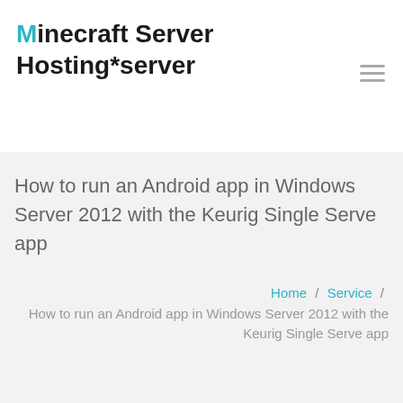Minecraft Server Hosting*server
How to run an Android app in Windows Server 2012 with the Keurig Single Serve app
Home / Service / How to run an Android app in Windows Server 2012 with the Keurig Single Serve app